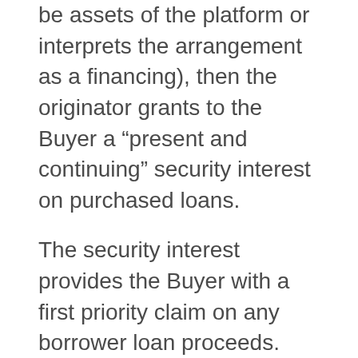be assets of the platform or interprets the arrangement as a financing), then the originator grants to the Buyer a “present and continuing” security interest on purchased loans.
The security interest provides the Buyer with a first priority claim on any borrower loan proceeds. The investor is authorized to perfect their security interest under Article 9 of the Uniform Commercial Code (“UCC”). Steps to perfect the security interest include filing financing statements on form UCC-1 which name the purchaser as the secured party and the platform as the debtor, as well as